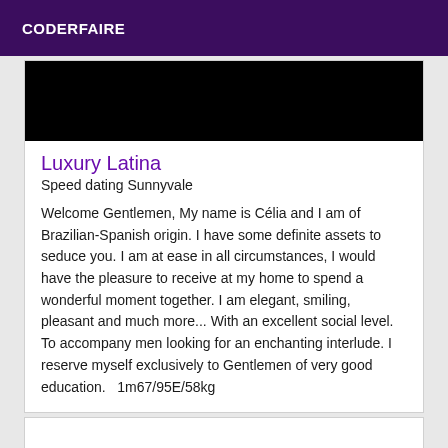CODERFAIRE
[Figure (photo): Black image area, likely a profile photo placeholder]
Luxury Latina
Speed dating Sunnyvale
Welcome Gentlemen, My name is Célia and I am of Brazilian-Spanish origin. I have some definite assets to seduce you. I am at ease in all circumstances, I would have the pleasure to receive at my home to spend a wonderful moment together. I am elegant, smiling, pleasant and much more... With an excellent social level. To accompany men looking for an enchanting interlude. I reserve myself exclusively to Gentlemen of very good education.   1m67/95E/58kg